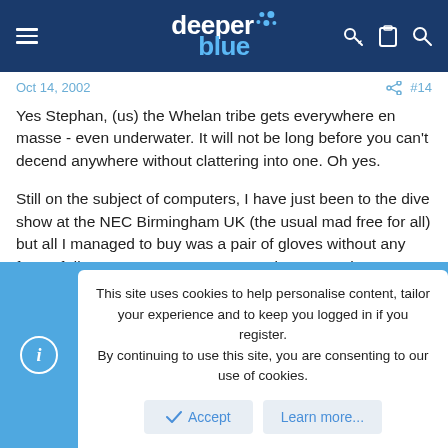deeper blue
Oct 14, 2002
#14
Yes Stephan, (us) the Whelan tribe gets everywhere en masse - even underwater. It will not be long before you can't decend anywhere without clattering into one. Oh yes.

Still on the subject of computers, I have just been to the dive show at the NEC Birmingham UK (the usual mad free for all) but all I managed to buy was a pair of gloves without any form of discount!. Computers were going pretty cheap though.

Stuart Whelan:t
This site uses cookies to help personalise content, tailor your experience and to keep you logged in if you register.
By continuing to use this site, you are consenting to our use of cookies.